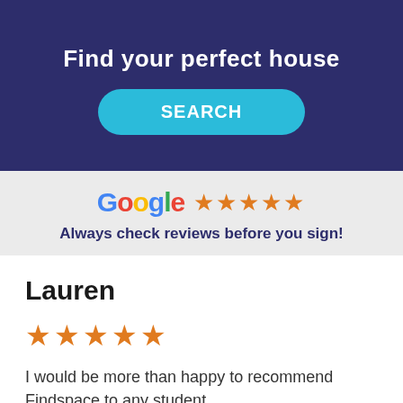Find your perfect house
[Figure (screenshot): Dark navy blue banner with white bold text 'Find your perfect house' and a teal rounded SEARCH button]
[Figure (logo): Google logo in multicolored text followed by 5 orange stars]
Always check reviews before you sign!
Lauren
[Figure (infographic): 5 orange stars rating]
I would be more than happy to recommend Findspace to any student.